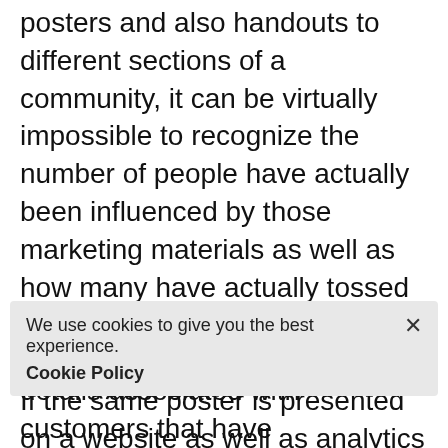posters and also handouts to different sections of a community, it can be virtually impossible to recognize the number of people have actually been influenced by those marketing materials as well as how many have actually tossed them right into the trash.

If the same poster is presented on a website as well as analytics software application is incorporated with it, there can be correct dimension of the number of individuals have
We use cookies to give you the best experience.
Cookie Policy
details associated with customers that have